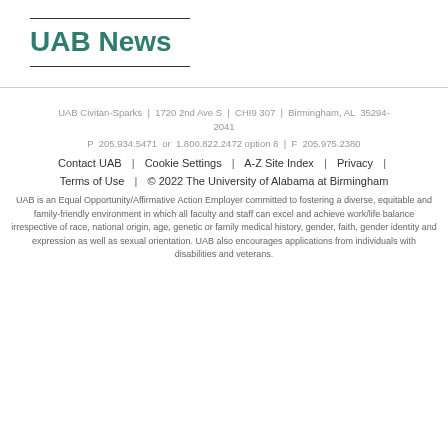UAB News
UAB Civitan-Sparks | 1720 2nd Ave S | CHI9 307 | Birmingham, AL 35294-2041
P 205.934.5471 or 1.800.822.2472 option 8 | F 205.975.2380
Contact UAB | Cookie Settings | A-Z Site Index | Privacy | Terms of Use | © 2022 The University of Alabama at Birmingham
UAB is an Equal Opportunity/Affirmative Action Employer committed to fostering a diverse, equitable and family-friendly environment in which all faculty and staff can excel and achieve work/life balance irrespective of race, national origin, age, genetic or family medical history, gender, faith, gender identity and expression as well as sexual orientation. UAB also encourages applications from individuals with disabilities and veterans.